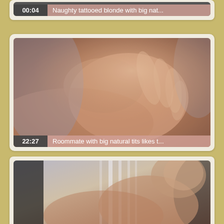[Figure (screenshot): Video thumbnail card (partial, top): dark thumbnail with duration badge '00:04' and title 'Naughty tattooed blonde with big nat...']
[Figure (screenshot): Video thumbnail card: blurry close-up skin/hand image, duration badge '22:27', title 'Roommate with big natural tits likes t...']
[Figure (screenshot): Video thumbnail card (partial, bottom): close-up image, no duration/title visible in crop]